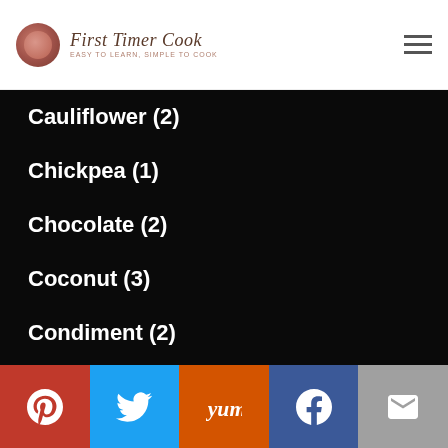First Timer Cook
Cauliflower (2)
Chickpea (1)
Chocolate (2)
Coconut (3)
Condiment (2)
Dessert (21)
Do Pyaza Recipes (1)
Flatbreads (3)